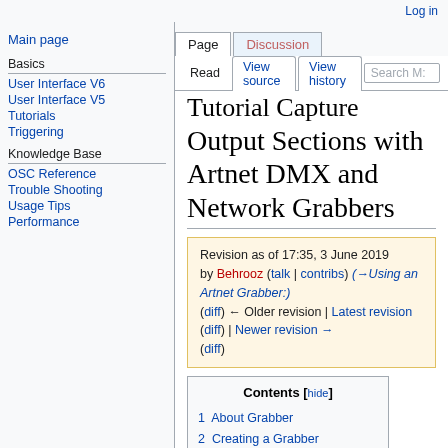Log in
Page | Discussion | Read | View source | View history | Search M:
Tutorial Capture Output Sections with Artnet DMX and Network Grabbers
Revision as of 17:35, 3 June 2019 by Behrooz (talk | contribs) (→Using an Artnet Grabber:) (diff) ← Older revision | Latest revision (diff) | Newer revision → (diff)
Contents [hide]
1 About Grabber
2 Creating a Grabber